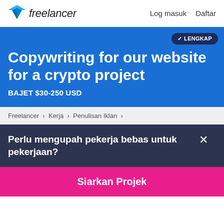freelancer   Log masuk   Daftar
Copywriting for our website for a crypto project
BAJET $30-250 USD
✓ LENGKAP
Freelancer › Kerja › Penulisan Iklan ›
Perlu mengupah pekerja bebas untuk pekerjaan?
Siarkan Projek